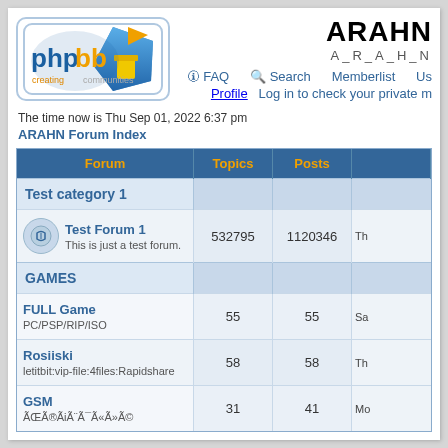[Figure (logo): phpBB creating communities logo — blue pentagon shape with orange flag, yellow cup, blue text 'phpbb', orange 'creating communities']
ARAHN
A_R_A_H_N
FAQ  Search  Memberlist  Us...
Profile  Log in to check your private m...
The time now is Thu Sep 01, 2022 6:37 pm
ARAHN Forum Index
| Forum | Topics | Posts |
| --- | --- | --- |
| Test category 1 |  |  |
| Test Forum 1 / This is just a test forum. | 532795 | 1120346 |
| GAMES |  |  |
| FULL Game / PC/PSP/RIP/ISO | 55 | 55 |
| Rosiiski / letitbit:vip-file:4files:Rapidshare | 58 | 58 |
| GSM / ÃŒÃ®ÃiÃ¨Ã«Å»ÃÃ»Ã© | 31 | 41 |